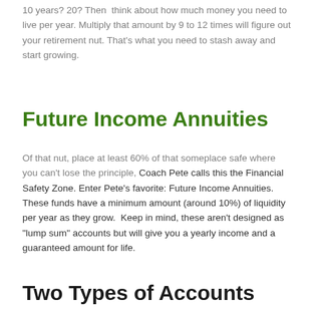10 years? 20? Then think about how much money you need to live per year. Multiply that amount by 9 to 12 times will figure out your retirement nut. That's what you need to stash away and start growing.
Future Income Annuities
Of that nut, place at least 60% of that someplace safe where you can't lose the principle, Coach Pete calls this the Financial Safety Zone. Enter Pete's favorite: Future Income Annuities. These funds have a minimum amount (around 10%) of liquidity per year as they grow. Keep in mind, these aren't designed as "lump sum" accounts but will give you a yearly income and a guaranteed amount for life.
Two Types of Accounts